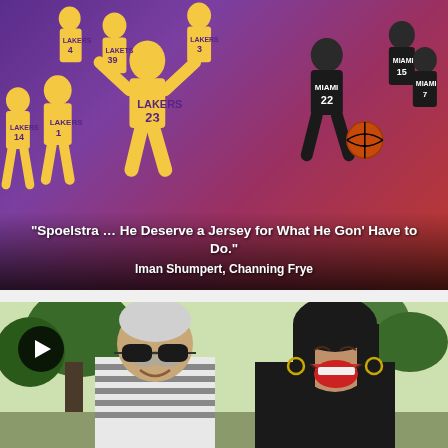[Figure (photo): NBA Finals promotional image showing Los Angeles Lakers players in yellow jerseys on the left against a purple background, and Miami Heat players in black jerseys on the right against a red background. Player numbers visible include 4, 39, 3, 1, 14, 23 for Lakers and 22, 15, 7 for Heat.]
“Spoelstra … He Deserve a Jersey for What He Gon’ Have to Do.”
Iman Shumpert, Channing Frye
[Figure (photo): Video thumbnail showing two people outdoors with trees in background. On the left is an older man wearing sunglasses and a striped shirt, smiling. On the right is a younger woman with dark hair and hoop earrings, laughing. A play button icon is visible in the upper left corner.]